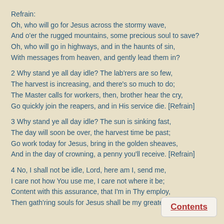Refrain:
Oh, who will go for Jesus across the stormy wave,
And o'er the rugged mountains, some precious soul to save?
Oh, who will go in highways, and in the haunts of sin,
With messages from heaven, and gently lead them in?
2 Why stand ye all day idle? The lab'rers are so few,
The harvest is increasing, and there's so much to do;
The Master calls for workers, then, brother hear the cry,
Go quickly join the reapers, and in His service die. [Refrain]
3 Why stand ye all day idle? The sun is sinking fast,
The day will soon be over, the harvest time be past;
Go work today for Jesus, bring in the golden sheaves,
And in the day of crowning, a penny you'll receive. [Refrain]
4 No, I shall not be idle, Lord, here am I, send me,
I care not how You use me, I care not where it be;
Content with this assurance, that I'm in Thy employ,
Then gath'ring souls for Jesus shall be my greatest joy. [
Contents